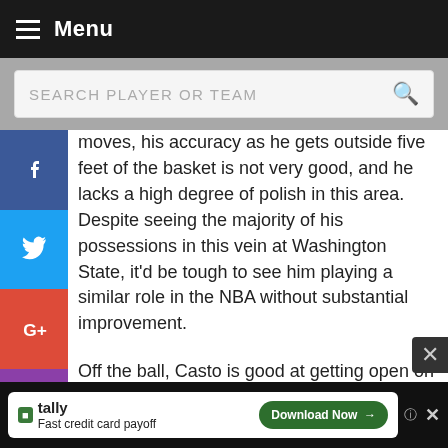Menu
[Figure (screenshot): Search bar with placeholder text SEARCH PLAYER OR TEAM and a red magnifying glass icon]
moves, his accuracy as he gets outside five feet of the basket is not very good, and he lacks a high degree of polish in this area. Despite seeing the majority of his possessions in this vein at Washington State, it'd be tough to see him playing a similar role in the NBA without substantial improvement.
Off the ball, Casto is good at getting open on cuts to the basket and crashing the offensive glass, but his lack of ability to power up in the lane leads to him being an underwhelming finisher, especially when contested. He also is rarely utilized on pick-and-rolls or pick-and-pops, not showing much of anything in terms ... surely ... el.
[Figure (screenshot): Tally advertisement banner: Fast credit card payoff with Download Now button]